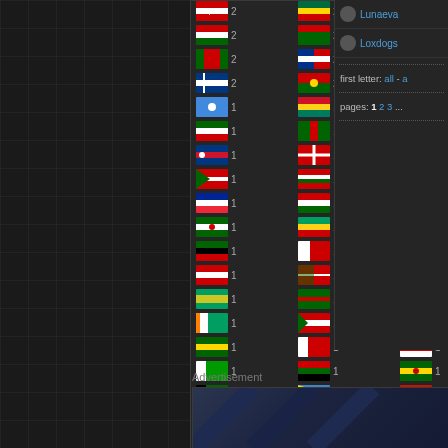[Figure (screenshot): A dark-themed website interface showing a grid of country flags with counts, a right sidebar with user names Lunaeva and Loxdogs, first letter navigation, page numbers, and an advertisement section at the bottom.]
Lunaeva
Loxdogs
first letter: all - a
pages: 1 2 3 ...
Advertisement